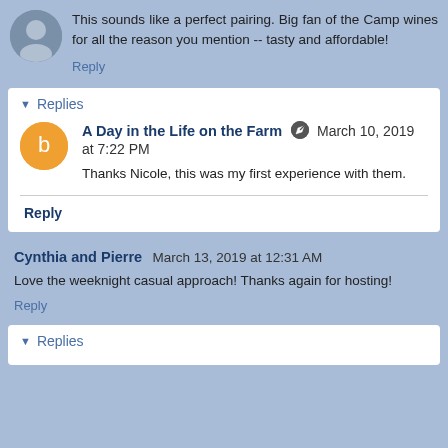This sounds like a perfect pairing. Big fan of the Camp wines for all the reason you mention -- tasty and affordable!
Reply
Replies
A Day in the Life on the Farm  March 10, 2019 at 7:22 PM
Thanks Nicole, this was my first experience with them.
Reply
Cynthia and Pierre  March 13, 2019 at 12:31 AM
Love the weeknight casual approach! Thanks again for hosting!
Reply
Replies